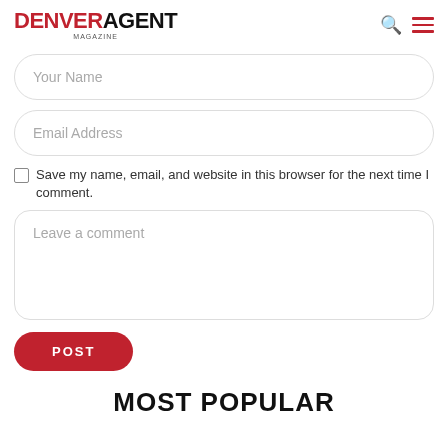DENVER AGENT MAGAZINE
Your Name
Email Address
Save my name, email, and website in this browser for the next time I comment.
Leave a comment
POST
MOST POPULAR